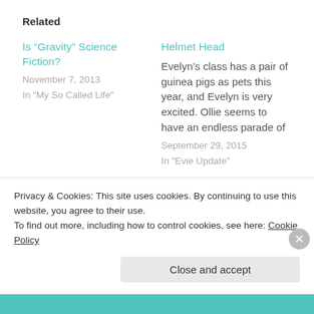Related
Is “Gravity” Science Fiction?
November 7, 2013
In "My So Called Life"
Helmet Head
Evelyn’s class has a pair of guinea pigs as pets this year, and Evelyn is very excited. Ollie seems to have an endless parade of
September 29, 2015
In "Evie Update"
Sweet Cuppin Cakes
While Tony was here, we went to Molly’s Cupcakes twice to eat their delicious confections.  I
Privacy & Cookies: This site uses cookies. By continuing to use this website, you agree to their use.
To find out more, including how to control cookies, see here: Cookie Policy
Close and accept